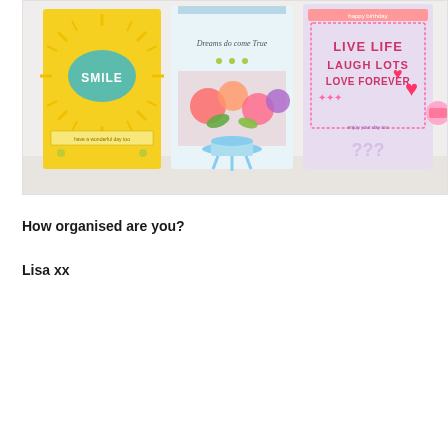[Figure (photo): Photo showing three greeting cards standing upright. Left card is yellow with sunburst pattern and 'SMILE' text in teal oval. Middle card has floral design with blue vase and text 'Dreams do come True'. Right card is pink/purple with hearts and text 'LIVE LIFE LAUGH LOTS LOVE FOREVER'.]
How organised are you?
Lisa xx